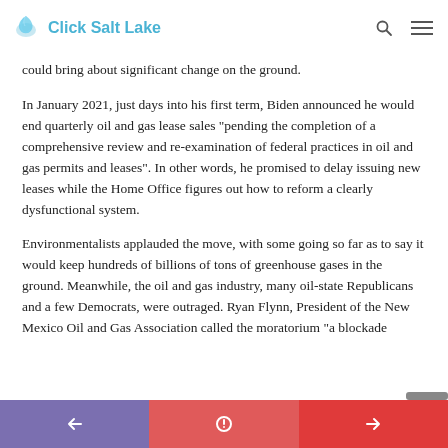Click Salt Lake
could bring about significant change on the ground.

In January 2021, just days into his first term, Biden announced he would end quarterly oil and gas lease sales "pending the completion of a comprehensive review and re-examination of federal practices in oil and gas permits and leases". In other words, he promised to delay issuing new leases while the Home Office figures out how to reform a clearly dysfunctional system.

Environmentalists applauded the move, with some going so far as to say it would keep hundreds of billions of tons of greenhouse gases in the ground. Meanwhile, the oil and gas industry, many oil-state Republicans and a few Democrats, were outraged. Ryan Flynn, President of the New Mexico Oil and Gas Association called the moratorium "a blockade